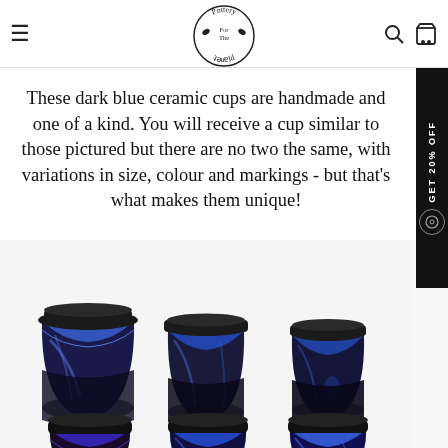Pottery For The Planet — navigation header with hamburger menu, logo, search and cart icons
These dark blue ceramic cups are handmade and one of a kind. You will receive a cup similar to those pictured but there are no two the same, with variations in size, colour and markings - but that's what makes them unique!
[Figure (photo): Six dark blue handmade ceramic travel cups with black silicone lids arranged in two rows of three on a white background. The cups vary slightly in size and glaze pattern, showing variations of deep blue and black tones.]